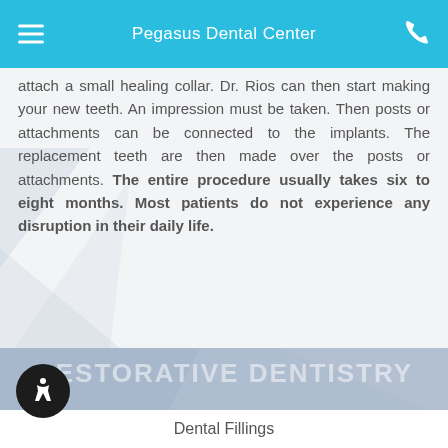Pegasus Dental Center
attach a small healing collar. Dr. Rios can then start making your new teeth. An impression must be taken. Then posts or attachments can be connected to the implants. The replacement teeth are then made over the posts or attachments. The entire procedure usually takes six to eight months. Most patients do not experience any disruption in their daily life.
RESTORATIVE DENTISTRY
Dental Fillings